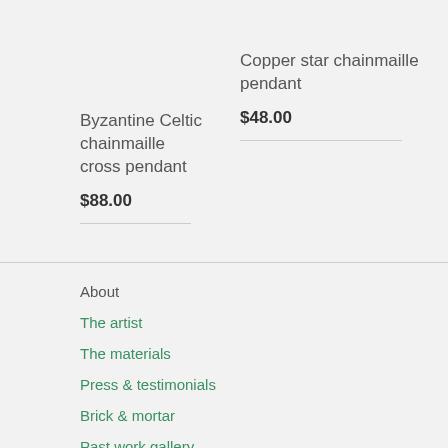Byzantine Celtic chainmaille cross pendant
$88.00
Copper star chainmaille pendant
$48.00
About
The artist
The materials
Press & testimonials
Brick & mortar
Past work gallery